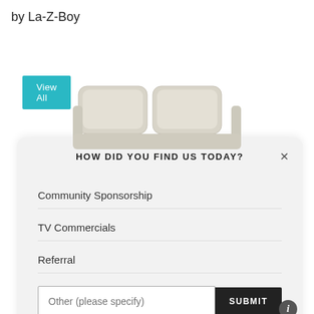by La-Z-Boy
View All
[Figure (photo): Top-down view of a light beige/cream sofa with two cushions]
HOW DID YOU FIND US TODAY?
Community Sponsorship
TV Commercials
Referral
Other (please specify)
SUBMIT